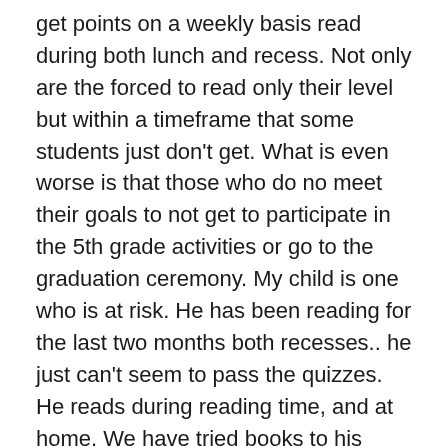get points on a weekly basis read during both lunch and recess. Not only are the forced to read only their level but within a timeframe that some students just don't get. What is even worse is that those who do no meet their goals to not get to participate in the 5th grade activities or go to the graduation ceremony. My child is one who is at risk. He has been reading for the last two months both recesses.. he just can't seem to pass the quizzes. He reads during reading time, and at home. We have tried books to his interest like Diary of Wimpy Kid which have been a sucess but there are only four books and needs more points... it is just awful he likes Harry Potter but takes too long to read one book and the one he did read and do a book report on (received an A) did not pass the AR test so he will not be going on the 5th grade class field trip to celebrate end of the year along